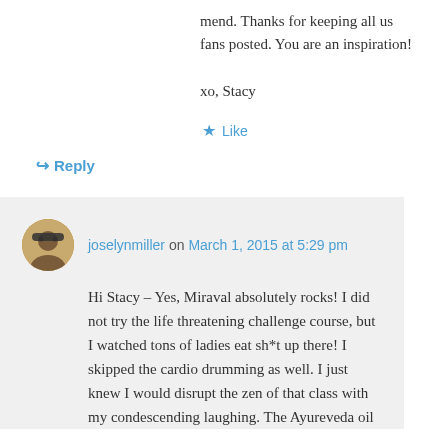mend. Thanks for keeping all us fans posted. You are an inspiration!

xo, Stacy
★ Like
↪ Reply
joselynmiller on March 1, 2015 at 5:29 pm
Hi Stacy – Yes, Miraval absolutely rocks! I did not try the life threatening challenge course, but I watched tons of ladies eat sh*t up there! I skipped the cardio drumming as well. I just knew I would disrupt the zen of that class with my condescending laughing. The Ayureveda oil